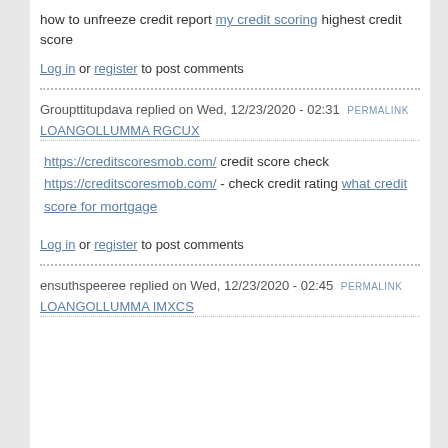how to unfreeze credit report my credit scoring highest credit score
Log in or register to post comments
Groupttitupdava replied on Wed, 12/23/2020 - 02:31 PERMALINK
LOANGOLLUMMA RGCUX
https://creditscoresmob.com/ credit score check https://creditscoresmob.com/ - check credit rating what credit score for mortgage
Log in or register to post comments
ensuthspeeree replied on Wed, 12/23/2020 - 02:45 PERMALINK
LOANGOLLUMMA IMXCS